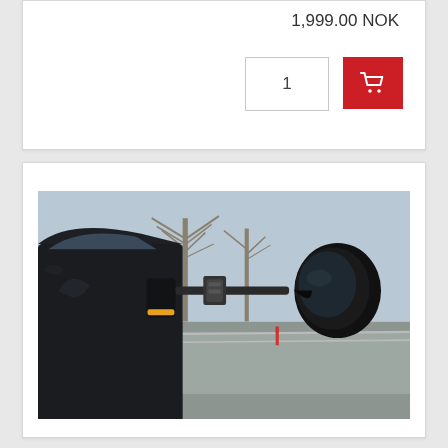1,999.00 NOK
[Figure (photo): A black SUV with a towing mirror extension attached to the driver-side door mirror. The towing mirror has a round black head extended on an arm clamped to the original mirror. Background shows bare trees and a road in overcast weather.]